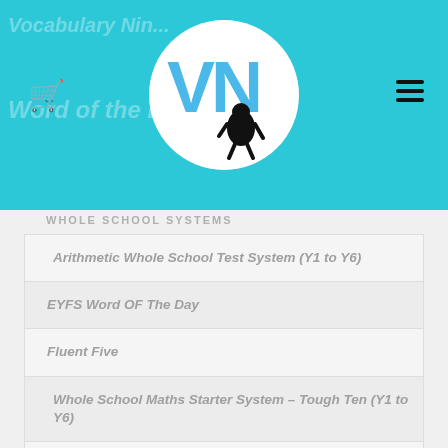[Figure (logo): Vocabulary Ninja logo - VN letters with ninja figure in white circle on teal header background]
WHOLE SCHOOL SYSTEMS
Arithmetic Whole School Test System (Y1 to Y6)
EYFS Word OF The Day
Fluent Five
Whole School Maths Starter System – Tough Ten (Y1 to Y6)
Whole School SPaG Starter System (Y1 to Y6)
Whole School Spelling System (Y1 to Y6)